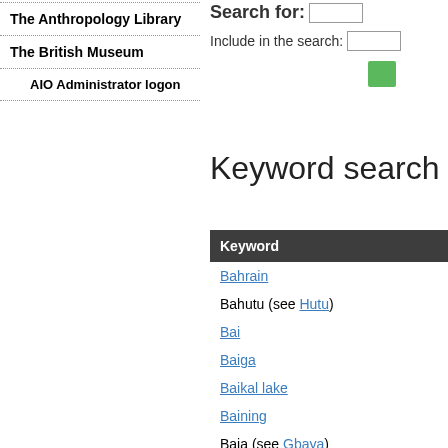The Anthropology Library
The British Museum
AIO Administrator logon
Search for:
Include in the search:
Keyword search resu…
| Keyword |
| --- |
| Bahrain |
| Bahutu (see Hutu) |
| Bai |
| Baiga |
| Baikal lake |
| Baining |
| Baja (see Gbaya) |
| Baja California |
| Bajau |